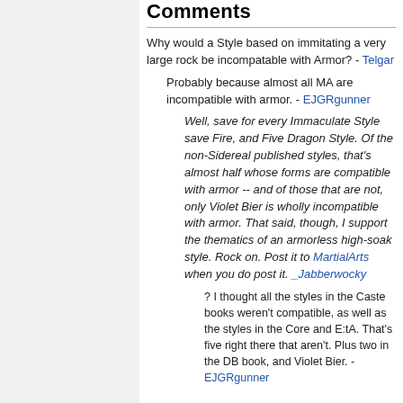Comments
Why would a Style based on immitating a very large rock be incompatable with Armor? - Telgar
Probably because almost all MA are incompatible with armor. - EJGRgunner
Well, save for every Immaculate Style save Fire, and Five Dragon Style. Of the non-Sidereal published styles, that's almost half whose forms are compatible with armor -- and of those that are not, only Violet Bier is wholly incompatible with armor. That said, though, I support the thematics of an armorless high-soak style. Rock on. Post it to MartialArts when you do post it. _Jabberwocky
? I thought all the styles in the Caste books weren't compatible, as well as the styles in the Core and E:tA. That's five right there that aren't. Plus two in the DB book, and Violet Bier. -EJGRgunner